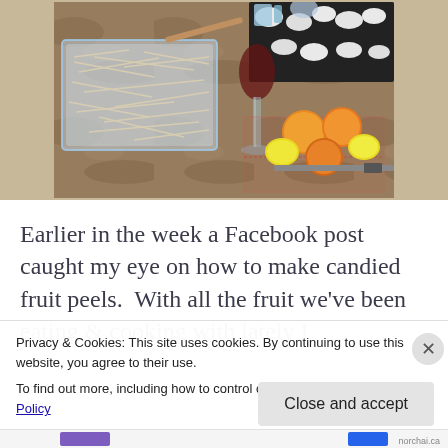[Figure (photo): Kitchen counter scene with a glass baking dish containing julienned white food (possibly jicama or parsnip), a glass of red wine, citrus fruits (oranges and lemons), a cutting board with a knife, and white shapes on dark paper in the background.]
Earlier in the week a Facebook post caught my eye on how to make candied fruit peels.  With all the fruit we’ve been eating & cooking with lately I
Privacy & Cookies: This site uses cookies. By continuing to use this website, you agree to their use.
To find out more, including how to control cookies, see here: Cookie Policy
Close and accept